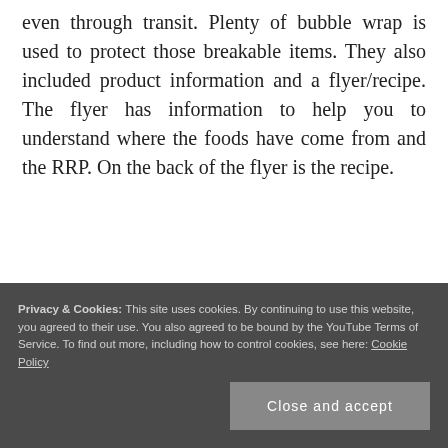even through transit. Plenty of bubble wrap is used to protect those breakable items. They also included product information and a flyer/recipe. The flyer has information to help you to understand where the foods have come from and the RRP. On the back of the flyer is the recipe.
Privacy & Cookies: This site uses cookies. By continuing to use this website, you agreed to their use. You also agreed to be bound by the YouTube Terms of Service. To find out more, including how to control cookies, see here: Cookie Policy
Close and accept